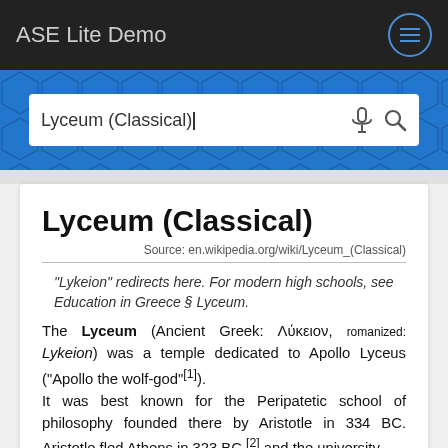ASE Lite Demo
[Figure (screenshot): Search bar with text 'Lyceum (Classical)' and microphone and search icons]
Lyceum (Classical)
Source: en.wikipedia.org/wiki/Lyceum_(Classical)
"Lykeion" redirects here. For modern high schools, see Education in Greece § Lyceum.
The Lyceum (Ancient Greek: Λύκειον, romanized: Lykeion) was a temple dedicated to Apollo Lyceus ("Apollo the wolf-god"[1]). It was best known for the Peripatetic school of philosophy founded there by Aristotle in 334 BC. Aristotle fled Athens in 323 BC,[2] and the university